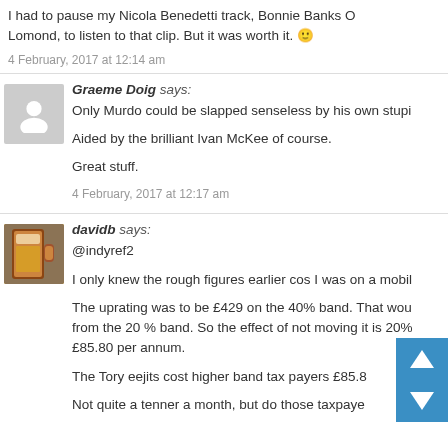I had to pause my Nicola Benedetti track, Bonnie Banks O Lomond, to listen to that clip. But it was worth it. 🙂
4 February, 2017 at 12:14 am
Graeme Doig says:
Only Murdo could be slapped senseless by his own stupi...

Aided by the brilliant Ivan McKee of course.

Great stuff.
4 February, 2017 at 12:17 am
davidb says:
@indyref2

I only knew the rough figures earlier cos I was on a mobil...

The uprating was to be £429 on the 40% band. That wou... from the 20 % band. So the effect of not moving it is 20%... £85.80 per annum.

The Tory eejits cost higher band tax payers £85.8...

Not quite a tenner a month, but do those taxpaye...